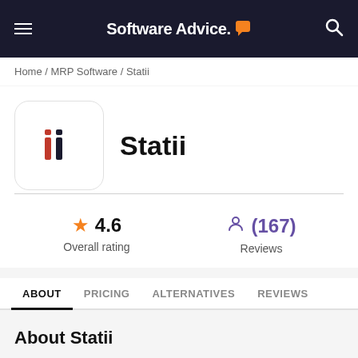Software Advice.
Home / MRP Software / Statii
[Figure (logo): Statii product logo — white rounded square with 'ii' letters in red/dark on white background]
Statii
★ 4.6 Overall rating
(167) Reviews
ABOUT   PRICING   ALTERNATIVES   REVIEWS
About Statii
Statii software is a cloud-based system for small manufacturing companies. The solution is designed to